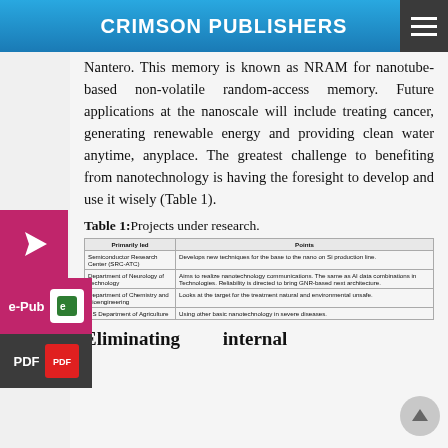CRIMSON PUBLISHERS
Nantero. This memory is known as NRAM for nanotube-based non-volatile random-access memory. Future applications at the nanoscale will include treating cancer, generating renewable energy and providing clean water anytime, anyplace. The greatest challenge to benefiting from nanotechnology is having the foresight to develop and use it wisely (Table 1).
Table 1: Projects under research.
| Primarily led | Points |
| --- | --- |
| Semiconductor Research Center (SRC-ATC) | Develops new techniques for the base to the nano on Si production line. |
| Department of Neurology of Technology | Aims to realize nanotechnology communications. The same as AI data combinations in Technologies. Reliability is directed to bring GNR-based next architecture. |
| Department of Chemistry and Bioengineering | Looks at the target for the treatment natural and environmental unsafe. |
| US Department of Agriculture | Using other basic nanotechnology in severe diseases. |
Eliminating internal